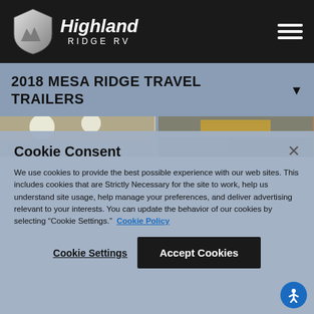Highland Ridge RV
2018 MESA RIDGE TRAVEL TRAILERS
[Figure (photo): Interior RV photos showing ceiling lights and cabinetry]
Cookie Consent
We use cookies to provide the best possible experience with our web sites. This includes cookies that are Strictly Necessary for the site to work, help us understand site usage, help manage your preferences, and deliver advertising relevant to your interests. You can update the behavior of our cookies by selecting "Cookie Settings." Cookie Policy
Cookie Settings  Accept Cookies